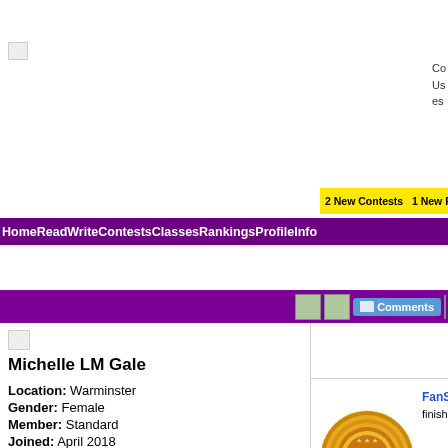[Figure (screenshot): FanStory website profile page for Michelle LM Gale showing navigation, profile info, and a 3rd place award ribbon]
Co...
Us...
es...
2 New Contests  1 New Pro...
HomeReadWriteContestsClassesRankingsProfileInfo
Comments
Michelle LM Gale
Location:  Warminster
Gender:  Female
Member:  Standard
Joined:  April 2018
INFORMATION
FAVORITE QUOTE
MICHELLE LM GALE FANS
1 of 1 fans
See All
[Figure (illustration): Gold 3rd place award ribbon/rosette]
FanStory
finished t...
April 1, 2020 at 1:10AM
Michelle LM Gale: I love w... affect on the planet we live... Try was in response to the... Gone Mad was written to h...